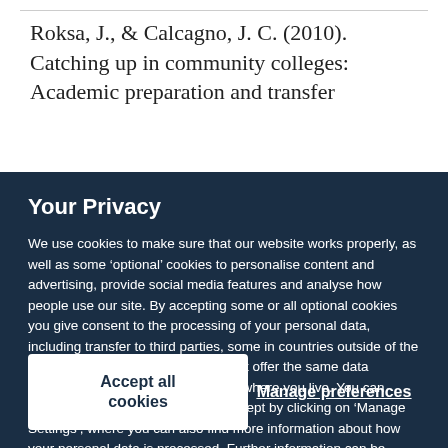Roksa, J., & Calcagno, J. C. (2010). Catching up in community colleges: Academic preparation and transfer
Your Privacy
We use cookies to make sure that our website works properly, as well as some ‘optional’ cookies to personalise content and advertising, provide social media features and analyse how people use our site. By accepting some or all optional cookies you give consent to the processing of your personal data, including transfer to third parties, some in countries outside of the European Economic Area that do not offer the same data protection standards as the country where you live. You can decide which optional cookies to accept by clicking on ‘Manage Settings’, where you can also find more information about how your personal data is processed. Further information can be found in our privacy policy.
Accept all cookies
Manage preferences